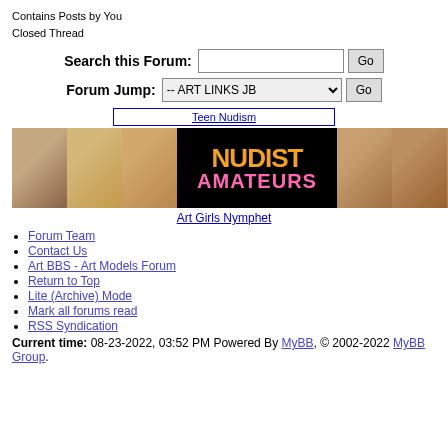Contains Posts by You
Closed Thread
Search this Forum:
Forum Jump:
[Figure (illustration): Teen Nudism banner link]
[Figure (photo): Nudist Amateurs banner with thumbnail photos on left and right and central text logo on black background]
[Figure (illustration): Art Girls Nymphet banner link]
Forum Team
Contact Us
Art BBS - Art Models Forum
Return to Top
Lite (Archive) Mode
Mark all forums read
RSS Syndication
Current time: 08-23-2022, 03:52 PM Powered By MyBB, © 2002-2022 MyBB Group.